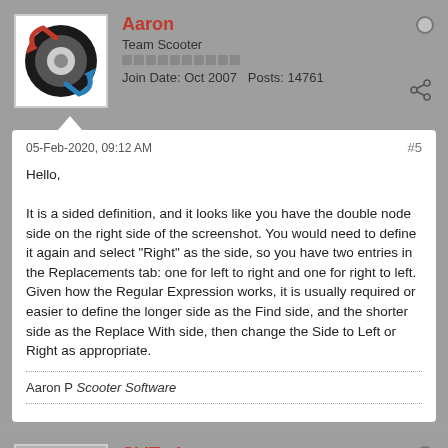Aaron
Team Scooter
Join Date: Oct 2007   Posts: 14761
05-Feb-2020, 09:12 AM
#5
Hello,

It is a sided definition, and it looks like you have the double node side on the right side of the screenshot. You would need to define it again and select "Right" as the side, so you have two entries in the Replacements tab: one for left to right and one for right to left. Given how the Regular Expression works, it is usually required or easier to define the longer side as the Find side, and the shorter side as the Replace With side, then change the Side to Left or Right as appropriate.
Aaron P Scooter Software
SkiTrak
Journeyman